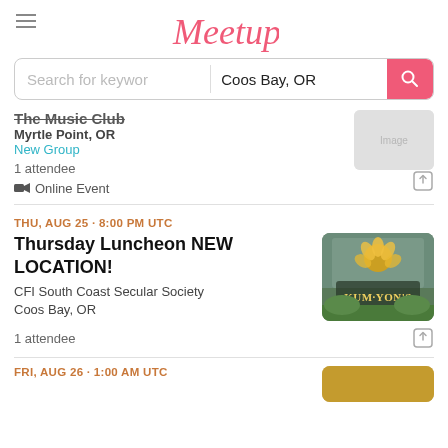Meetup
Search for keywords | Coos Bay, OR
The Music Club
Myrtle Point, OR
New Group
1 attendee
Online Event
THU, AUG 25 · 8:00 PM UTC
Thursday Luncheon NEW LOCATION!
CFI South Coast Secular Society
Coos Bay, OR
1 attendee
[Figure (photo): Photo of Kumyon's restaurant sign with golden lotus flower logo and green plants]
FRI, AUG 26 · 1:00 AM UTC